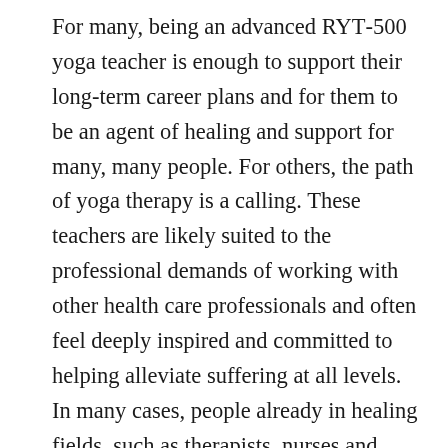For many, being an advanced RYT-500 yoga teacher is enough to support their long-term career plans and for them to be an agent of healing and support for many, many people. For others, the path of yoga therapy is a calling. These teachers are likely suited to the professional demands of working with other health care professionals and often feel deeply inspired and committed to helping alleviate suffering at all levels. In many cases, people already in healing fields, such as therapists, nurses and counselors find yoga therapy a perfect complimentary service to add to their careers. There are also students who simply want to dive deeper and learn more about yoga as a healing path, and yoga therapy provides a